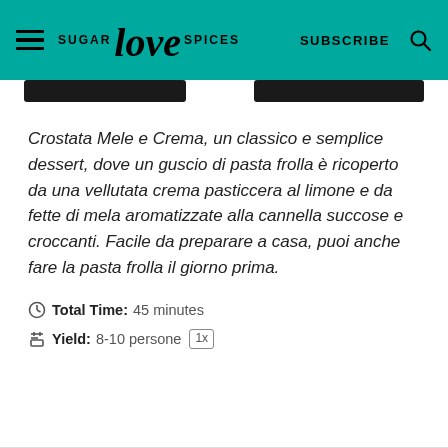SUGAR love SPICES  SUBSCRIBE
[Figure (screenshot): Two dark thumbnail image blocks partially visible below header]
Crostata Mele e Crema, un classico e semplice dessert, dove un guscio di pasta frolla è ricoperto da una vellutata crema pasticcera al limone e da fette di mela aromatizzate alla cannella succose e croccanti. Facile da preparare a casa, puoi anche fare la pasta frolla il giorno prima.
Total Time: 45 minutes
Yield: 8-10 persone  1x